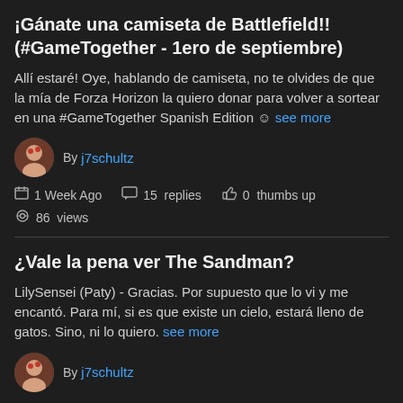¡Gánate una camiseta de Battlefield!! (#GameTogether - 1ero de septiembre)
Allí estaré! Oye, hablando de camiseta, no te olvides de que la mía de Forza Horizon la quiero donar para volver a sortear en una #GameTogether Spanish Edition ☺ see more
By j7schultz
1 Week Ago  15 replies  0 thumbs up  86 views
¿Vale la pena ver The Sandman?
LilySensei (Paty) - Gracias. Por supuesto que lo vi y me encantó. Para mí, si es que existe un cielo, estará lleno de gatos. Sino, ni lo quiero. see more
By j7schultz